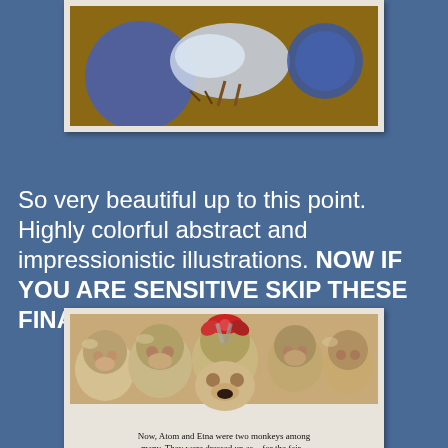[Figure (illustration): Colorful abstract and impressionistic illustration showing a bird or figure with blue circular shapes on a brown background, white border/frame]
So very beautiful up to this point. Highly colorful abstract and impressionistic illustrations. NOW IF YOU ARE SENSITIVE SKIP THESE FINAL ILLUSTRATIONS!
[Figure (illustration): Book illustration showing several monkeys crowded together, one with a red bow/flower on its head. Caption reads: Now, Atom and Etna were two monkeys among many. They were dressed up as... for the fair...]
Now, Atom and Etna were two monkeys among many. They were dressed up as... for the fair...